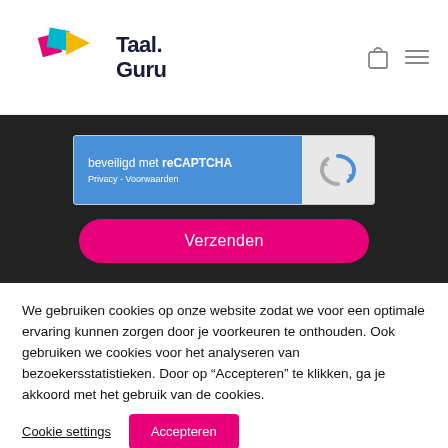[Figure (logo): Taal.Guru logo with colorful diamond shapes and bold dark navy text]
[Figure (screenshot): reCAPTCHA widget with blue background, 'beveiligd met reCAPTCHA' text, Privacy - Voorwaarden links, and reCAPTCHA icon on grey background]
[Figure (other): Pink rounded 'Verzenden' submit button]
We gebruiken cookies op onze website zodat we voor een optimale ervaring kunnen zorgen door je voorkeuren te onthouden. Ook gebruiken we cookies voor het analyseren van bezoekersstatistieken. Door op “Accepteren” te klikken, ga je akkoord met het gebruik van de cookies.
Cookie settings
Accepteren